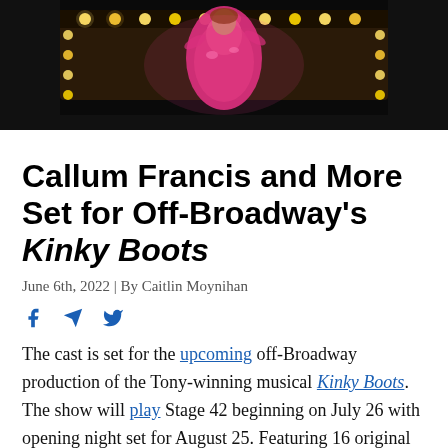[Figure (photo): A performer on stage in a bright pink sequined outfit under theatrical marquee lights against a dark background.]
Callum Francis and More Set for Off-Broadway's Kinky Boots
June 6th, 2022 | By Caitlin Moynihan
[Figure (infographic): Social sharing icons: Facebook, Telegram (send/arrow), and Twitter bird icons in blue.]
The cast is set for the upcoming off-Broadway production of the Tony-winning musical Kinky Boots. The show will play Stage 42 beginning on July 26 with opening night set for August 25. Featuring 16 original